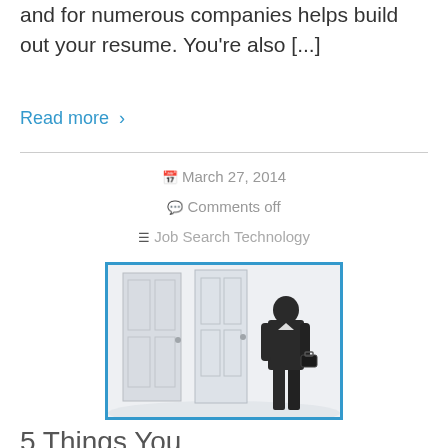and for numerous companies helps build out your resume. You’re also […]
Read more ›
📅 March 27, 2014
💬 Comments off
≡ Job Search Technology
[Figure (photo): A businessman in a dark suit holding a briefcase, standing with his back to the viewer, facing two white doors in a bright room. The image is framed with a blue border.]
5 Things You